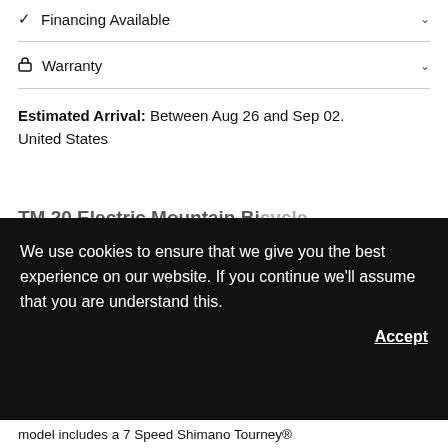✓ Financing Available
🔒 Warranty
Estimated Arrival: Between Aug 26 and Sep 02. United States
TM 20 Electric Mountain Bicycle
We use cookies to ensure that we give you the best experience on our website. If you continue we'll assume that you are understand this.
Accept
model includes a 7 Speed Shimano Tourney®